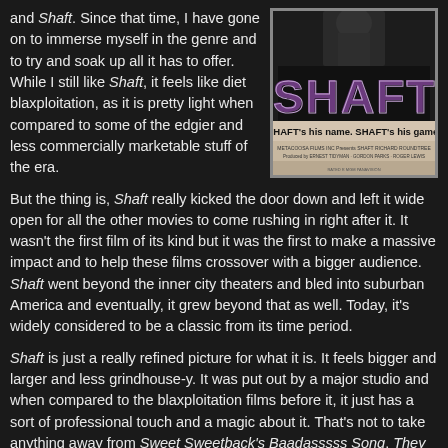and Shaft. Since that time, I have gone on to immerse myself in the genre and to try and soak up all it has to offer. While I still like Shaft, it feels like diet blaxploitation, as it is pretty light when compared to some of the edgier and less commercially marketable stuff of the era.
[Figure (photo): Movie poster for Shaft with large purple/dark text reading SHAFT and tagline SHAFT's his name. SHAFT's his game.]
But the thing is, Shaft really kicked the door down and left it wide open for all the other movies to come rushing in right after it. It wasn't the first film of its kind but it was the first to make a massive impact and to help these films crossover with a bigger audience. Shaft went beyond the inner city theaters and bled into suburban America and eventually, it grew beyond that as well. Today, it's widely considered to be a classic from its time period.
Shaft is just a really refined picture for what it is. It feels bigger and larger and less grindhouse-y. It was put out by a major studio and when compared to the blaxploitation films before it, it just has a sort of professional touch and a magic about it. That's not to take anything away from Sweet Sweetback's Baadasssss Song, They Call Me Mister Tibbs! and Cotton Comes to Harlem but Shaft had a feel of Hollywood legitimacy to it. Granted, I prefer a lot of the lower budget blaxploitation stuff like Dolemite but I have to respect Shaft for what it